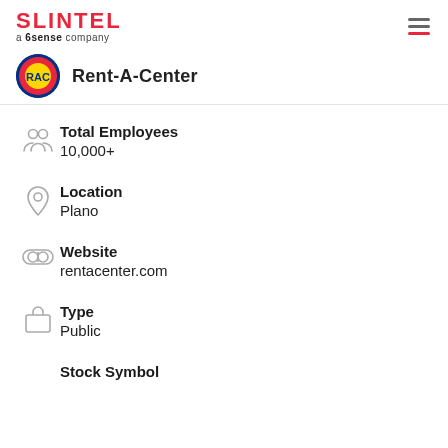SLINTEL a 6sense company
Rent-A-Center
Total Employees
10,000+
Location
Plano
Website
rentacenter.com
Type
Public
Stock Symbol